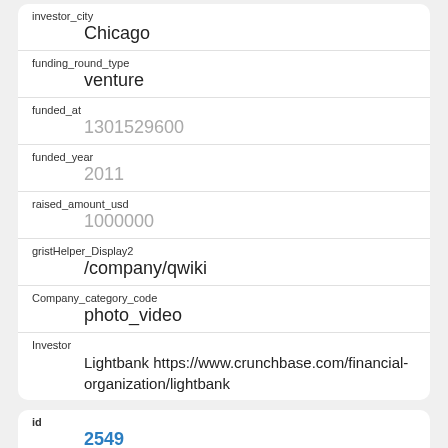| field | value |
| --- | --- |
| investor_city | Chicago |
| funding_round_type | venture |
| funded_at | 1301529600 |
| funded_year | 2011 |
| raised_amount_usd | 1000000 |
| gristHelper_Display2 | /company/qwiki |
| Company_category_code | photo_video |
| Investor | Lightbank https://www.crunchbase.com/financial-organization/lightbank |
| field | value |
| --- | --- |
| id | 2549 |